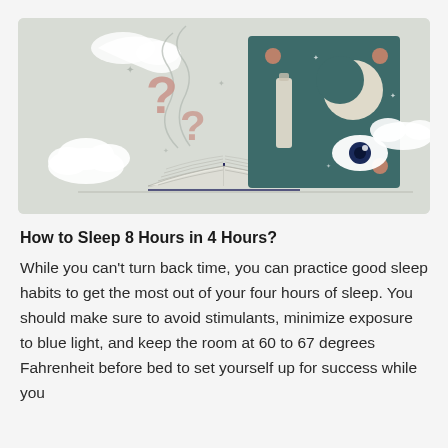[Figure (illustration): Illustration of an open book with question marks floating above it on the left side, and a dark teal/green rectangular panel on the right showing a crescent moon, an eye, a candle/bottle, clouds, and decorative dots. Light beige/grey background.]
How to Sleep 8 Hours in 4 Hours?
While you can't turn back time, you can practice good sleep habits to get the most out of your four hours of sleep. You should make sure to avoid stimulants, minimize exposure to blue light, and keep the room at 60 to 67 degrees Fahrenheit before bed to set yourself up for success while you